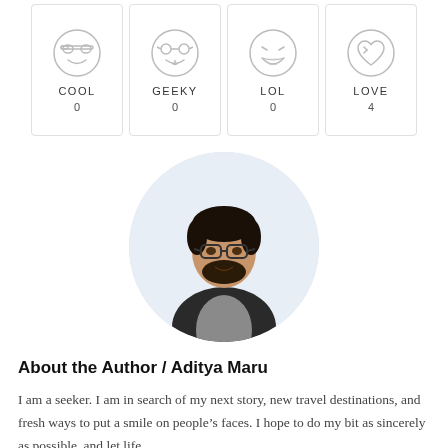[Figure (infographic): Four emoji reaction cards in a row: COOL (0), GEEKY (0), LOL (0), LOVE (4)]
[Figure (photo): Circular profile photo of Aditya Maru, a young man with glasses and a beard, wearing a dark jacket with a backpack, light blue background]
About the Author / Aditya Maru
I am a seeker. I am in search of my next story, new travel destinations, and fresh ways to put a smile on people's faces. I hope to do my bit as sincerely as possible, and let life